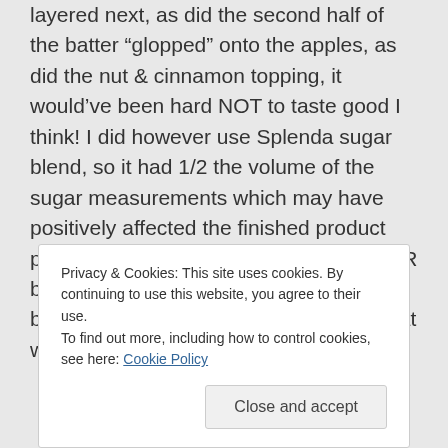layered next, as did the second half of the batter “glopped” onto the apples, as did the nut & cinnamon topping, it would’ve been hard NOT to taste good I think! I did however use Splenda sugar blend, so it had 1/2 the volume of the sugar measurements which may have positively affected the finished product perhaps????-Certainly the cake was FAR better than the GF Passover boxed brownies & choc.chip cookies I made that were “bleh”, as others
Privacy & Cookies: This site uses cookies. By continuing to use this website, you agree to their use.
To find out more, including how to control cookies, see here: Cookie Policy